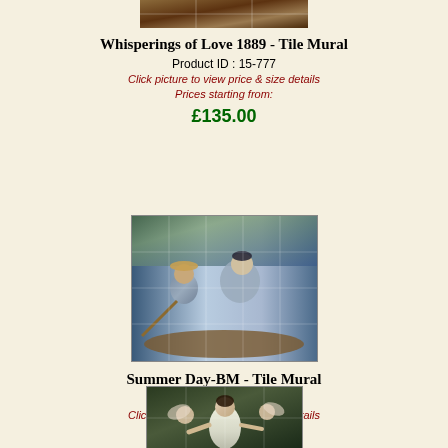[Figure (photo): Partially visible tile mural painting - Whisperings of Love 1889, showing bottom portion of artwork with dark tones]
Whisperings of Love 1889 - Tile Mural
Product ID : 15-777
Click picture to view price & size details
Prices starting from:
£135.00
[Figure (photo): Tile mural showing two women in a rowboat on a lake, one with a straw hat, water and trees in background, painting style with tile grid overlay]
Summer Day-BM - Tile Mural
Product ID : 15-2979
Click picture to view price & size details
Prices starting from:
£112.00
[Figure (photo): Partially visible tile mural showing a central female figure in white garment with angels/cherubs on either side, dark background]